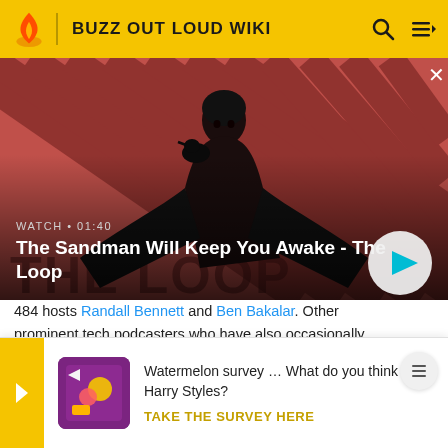BUZZ OUT LOUD WIKI
[Figure (screenshot): Hero video thumbnail showing a dark-cloaked figure with a raven on shoulder against red diagonal-striped background. Title: 'The Sandman Will Keep You Awake - The Loop'. Watch label: 'WATCH • 01:40'. White circular play button on right.]
484 hosts Randall Bennett and Ben Bakalar. Other prominent tech podcasters who have also occasionally guest ... Loud ... Tekzil
[Figure (infographic): Survey banner with yellow arrow, purple/pink icon, text: 'Watermelon survey … What do you think about Harry Styles?' and CTA 'TAKE THE SURVEY HERE']